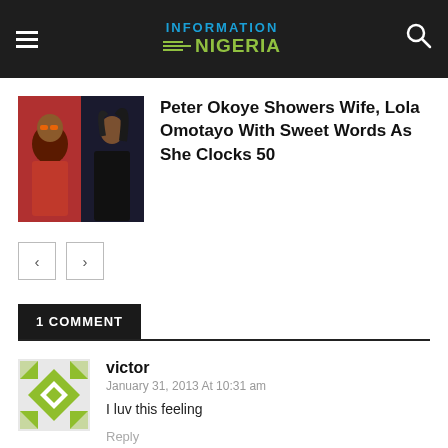INFORMATION NIGERIA
Peter Okoye Showers Wife, Lola Omotayo With Sweet Words As She Clocks 50
< >
1 COMMENT
victor
January 31, 2013 At 10:31 am
I luv this feeling
Reply
LEAVE A REPLY
Comment